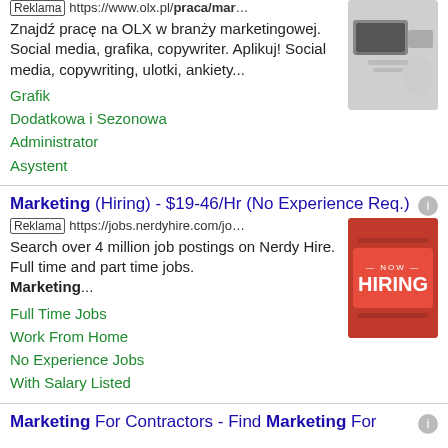[Reklama] https://www.olx.pl/praca/mar… Znajdź pracę na OLX w branży marketingowej. Social media, grafika, copywriter. Aplikuj! Social media, copywriting, ulotki, ankiety...
Grafik
Dodatkowa i Sezonowa
Administrator
Asystent
Marketing (Hiring) - $19-46/Hr (No Experience Req.) [Reklama] https://jobs.nerdyhire.com/jo… Search over 4 million job postings on Nerdy Hire. Full time and part time jobs. Marketing...
Full Time Jobs
Work From Home
No Experience Jobs
With Salary Listed
Marketing For Contractors - Find Marketing For